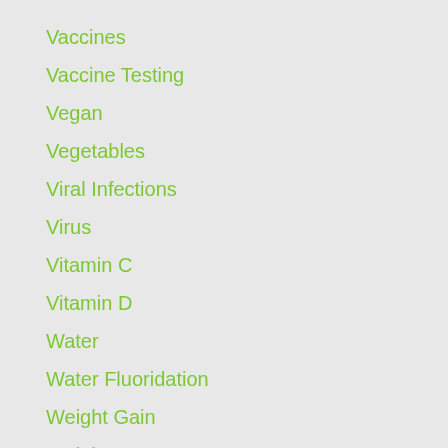Vaccines
Vaccine Testing
Vegan
Vegetables
Viral Infections
Virus
Vitamin C
Vitamin D
Water
Water Fluoridation
Weight Gain
Weight Loss
Wheat
Whole Grains
Winter
Winter Health
Womens Health
Would Healing
Xenoestrogens